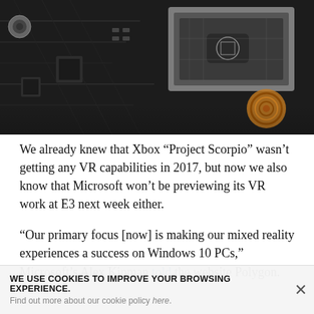[Figure (photo): Close-up photograph of Xbox Project Scorpio circuit board / PCB showing dark motherboard with Xbox logo chip, circuit traces, capacitors, and a copper coil component]
We already knew that Xbox “Project Scorpio” wasn’t getting any VR capabilities in 2017, but now we also know that Microsoft won’t be previewing its VR work at E3 next week either.
“Our primary focus [now] is making our mixed reality experiences a success on Windows 10 PCs,” Microsoft’s Alex Kipman told the website Polygon.
WE USE COOKIES TO IMPROVE YOUR BROWSING EXPERIENCE.
Find out more about our cookie policy here.